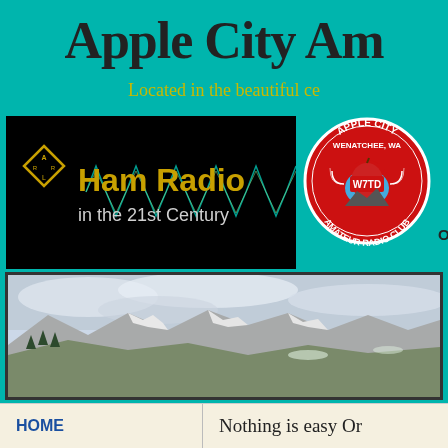Apple City Am
Located in the beautiful ce
[Figure (illustration): Ham Radio in the 21st Century banner with ARRL diamond logo and waveform graphic on black background]
[Figure (logo): Apple City Amateur Radio Club circular logo with apple graphic, W7TD callsign, Wenatchee WA text]
Our
[Figure (photo): Panoramic landscape photo of snowy mountain valley with cloudy sky, Wenatchee area]
HOME    Nothing is easy  Or